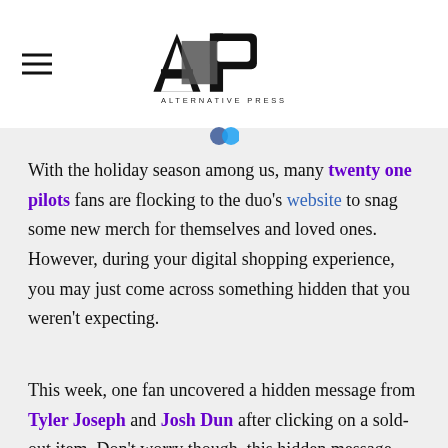AP ALTERNATIVE PRESS
With the holiday season among us, many twenty one pilots fans are flocking to the duo's website to snag some new merch for themselves and loved ones. However, during your digital shopping experience, you may just come across something hidden that you weren't expecting.
This week, one fan uncovered a hidden message from Tyler Joseph and Josh Dun after clicking on a sold-out item. Don't worry though, this hidden message requires very little cryptic analysi